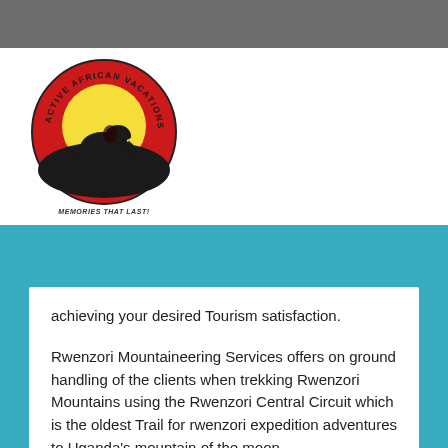[Figure (logo): Active African Vacations circular logo with elephant silhouette on red/yellow sunset background, text 'ACTIVE AFRICAN VACATIONS' around top and 'MEMORIES THAT LAST!' below]
achieving your desired Tourism satisfaction.
Rwenzori Mountaineering Services offers on ground handling of the clients when trekking Rwenzori Mountains using the Rwenzori Central Circuit which is the oldest Trail for rwenzori expedition adventures to Uganda's mountain of the moon.
Book A trekking